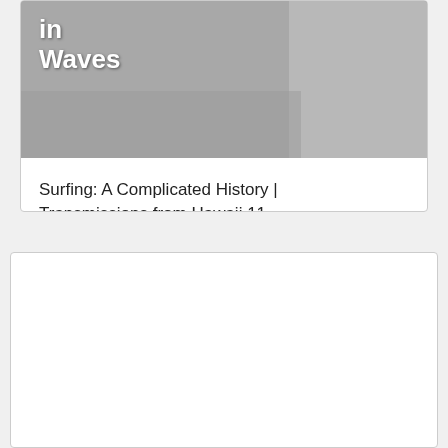[Figure (photo): Partial book cover image showing text 'in Waves' in white bold letters on a gray/muted background, with a figure of a person standing on the right side]
Surfing: A Complicated History | Transmissions from Hawaii 11
[Figure (photo): Empty white card/panel below the first card, no visible content]